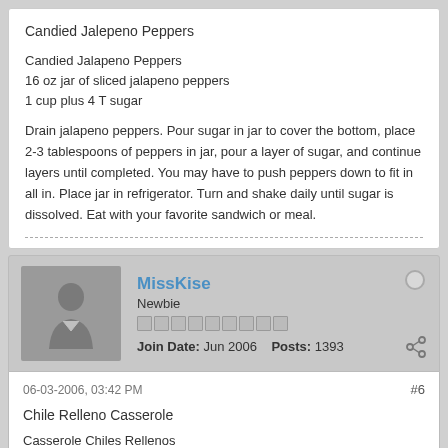Candied Jalepeno Peppers
Candied Jalapeno Peppers
16 oz jar of sliced jalapeno peppers
1 cup plus 4 T sugar
Drain jalapeno peppers. Pour sugar in jar to cover the bottom, place 2-3 tablespoons of peppers in jar, pour a layer of sugar, and continue layers until completed. You may have to push peppers down to fit in all in. Place jar in refrigerator. Turn and shake daily until sugar is dissolved. Eat with your favorite sandwich or meal.
MissKise
Newbie
Join Date: Jun 2006  Posts: 1393
06-03-2006, 03:42 PM
#6
Chile Relleno Casserole
Casserole Chiles Rellenos
1/2 C butter
1 (7 oz) can green chilies, whole